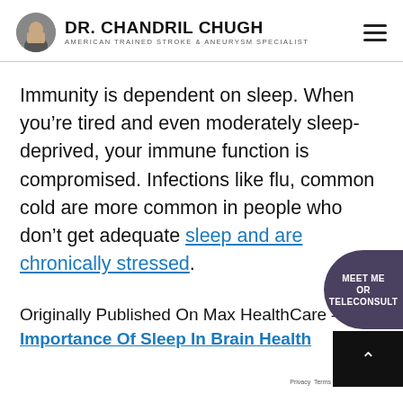DR. CHANDRIL CHUGH — AMERICAN TRAINED STROKE & ANEURYSM SPECIALIST
Immunity is dependent on sleep. When you’re tired and even moderately sleep-deprived, your immune function is compromised. Infections like flu, common cold are more common in people who don’t get adequate sleep and are chronically stressed.
Originally Published On Max HealthCare –
Importance Of Sleep In Brain Health